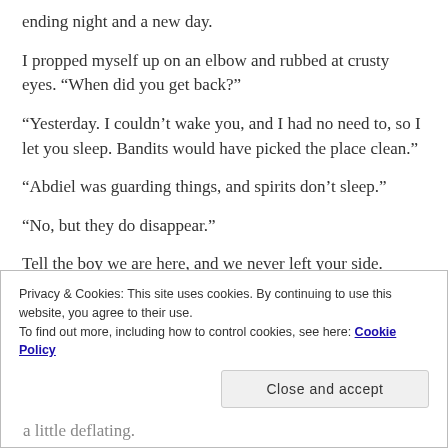ending night and a new day.
I propped myself up on an elbow and rubbed at crusty eyes. “When did you get back?”
“Yesterday. I couldn’t wake you, and I had no need to, so I let you sleep. Bandits would have picked the place clean.”
“Abdiel was guarding things, and spirits don’t sleep.”
“No, but they do disappear.”
Tell the boy we are here, and we never left your side.
Privacy & Cookies: This site uses cookies. By continuing to use this website, you agree to their use.
To find out more, including how to control cookies, see here: Cookie Policy
Close and accept
a little deflating.